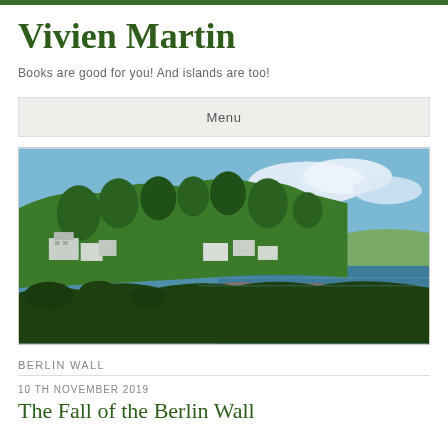Vivien Martin
Books are good for you! And islands are too!
Menu
[Figure (photo): Panoramic coastal photo showing a hillside village with white houses among green trees beside a calm blue sea with rocky shoreline and cloudy sky]
BERLIN WALL
10TH NOVEMBER 2019
The Fall of the Berlin Wall